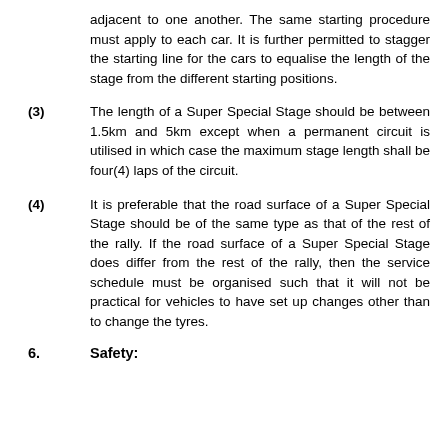adjacent to one another. The same starting procedure must apply to each car. It is further permitted to stagger the starting line for the cars to equalise the length of the stage from the different starting positions.
(3) The length of a Super Special Stage should be between 1.5km and 5km except when a permanent circuit is utilised in which case the maximum stage length shall be four(4) laps of the circuit.
(4) It is preferable that the road surface of a Super Special Stage should be of the same type as that of the rest of the rally. If the road surface of a Super Special Stage does differ from the rest of the rally, then the service schedule must be organised such that it will not be practical for vehicles to have set up changes other than to change the tyres.
6. Safety:
Some text appears to continue below.